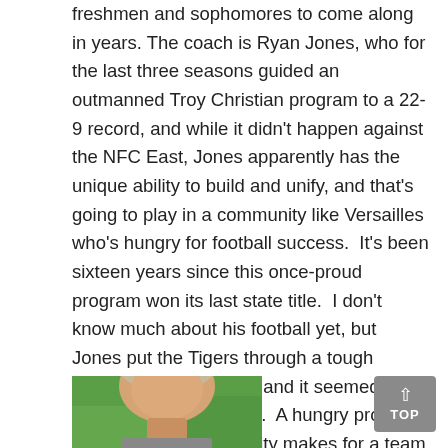freshmen and sophomores to come along in years. The coach is Ryan Jones, who for the last three seasons guided an outmanned Troy Christian program to a 22-9 record, and while it didn't happen against the NFC East, Jones apparently has the unique ability to build and unify, and that's going to play in a community like Versailles who's hungry for football success.  It's been sixteen years since this once-proud program won its last state title.  I don't know much about his football yet, but Jones put the Tigers through a tough summer of preparation and it seemed to strike a welcome chord.  A hungry program plus a hungry community makes for a team that's fun to watch – a team of intrigue.
[Figure (photo): Partial photo of a person's head against a green background, cropped at bottom of page]